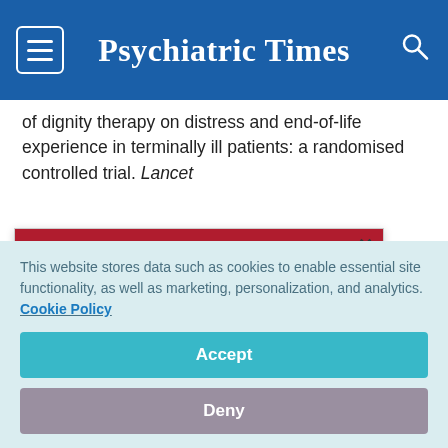Psychiatric Times
of dignity therapy on distress and end-of-life experience in terminally ill patients: a randomised controlled trial. Lancet
[Figure (infographic): Advertisement overlay: 'Real World Solutions To Running Your Practice More Efficiently' with red background bars and 'Get Expert Insights!' CTA button. Close (×) button in top right.]
e of the terminally ds. Handbook of ork: Oxford olescent in
This website stores data such as cookies to enable essential site functionality, as well as marketing, personalization, and analytics. Cookie Policy
Accept
Deny